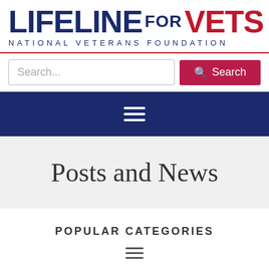[Figure (logo): Lifeline for Vets - National Veterans Foundation logo with LIFELINE in dark navy, FOR in navy smaller text, VETS in red, and NATIONAL VETERANS FOUNDATION subtitle in navy spaced caps]
[Figure (screenshot): Search bar with placeholder text 'Search...' and a red Search button with magnifying glass icon]
[Figure (other): Dark navy navigation bar with white hamburger menu icon (three horizontal lines)]
Posts and News
POPULAR CATEGORIES
[Figure (other): Dark gray hamburger menu icon (three horizontal lines) below POPULAR CATEGORIES]